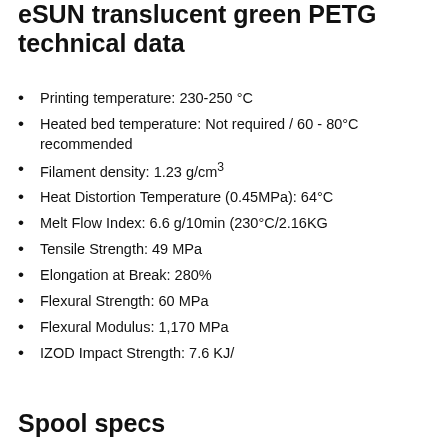eSUN translucent green PETG technical data
Printing temperature: 230-250 °C
Heated bed temperature: Not required / 60 - 80°C recommended
Filament density: 1.23 g/cm³
Heat Distortion Temperature (0.45MPa): 64°C
Melt Flow Index: 6.6 g/10min (230°C/2.16KG
Tensile Strength: 49 MPa
Elongation at Break: 280%
Flexural Strength: 60 MPa
Flexural Modulus: 1,170 MPa
IZOD Impact Strength: 7.6 KJ/
Spool specs